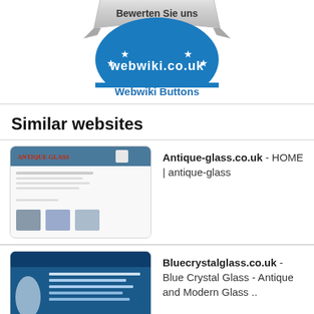[Figure (logo): Webwiki.co.uk rating badge - silver ribbon on top reading 'Bewerten Sie uns', blue circular badge with stars and 'webwiki.co.uk' text]
Webwiki Buttons
Similar websites
[Figure (screenshot): Thumbnail screenshot of antique-glass.co.uk website showing ANTIQUE GLASS header and product images]
Antique-glass.co.uk - HOME | antique-glass
[Figure (screenshot): Thumbnail screenshot of bluecrystalglass.co.uk website showing blue design with product photos]
Bluecrystalglasses.co.uk - Blue Crystal Glass - Antique and Modern Glass ..
[Figure (screenshot): Thumbnail screenshot of antique-collecting.co.uk website]
Antique-collecting.co.uk - Antique Collecting -